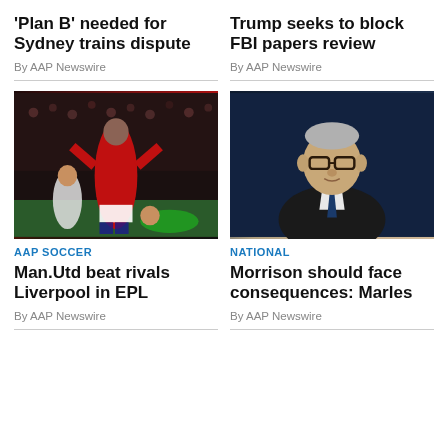'Plan B' needed for Sydney trains dispute
By AAP Newswire
Trump seeks to block FBI papers review
By AAP Newswire
[Figure (photo): Soccer player in red Manchester United kit celebrating on pitch]
AAP SOCCER
Man.Utd beat rivals Liverpool in EPL
By AAP Newswire
[Figure (photo): Scott Morrison at press conference with dark background]
NATIONAL
Morrison should face consequences: Marles
By AAP Newswire